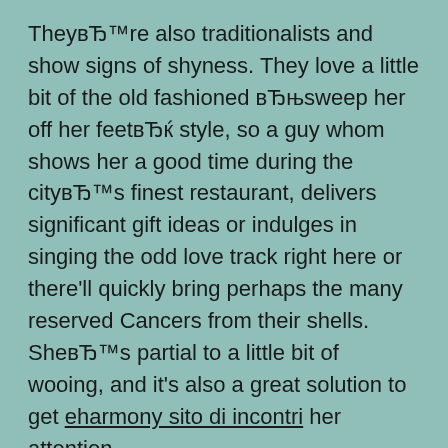They're also traditionalists and show signs of shyness. They love a little bit of the old fashioned вЂњsweep her off her feetвЂќ style, so a guy whom shows her a good time during the cityвЂ™s finest restaurant, delivers significant gift ideas or indulges in singing the odd love track right here or there'll quickly bring perhaps the many reserved Cancers from their shells. SheвЂ™s partial to a little bit of wooing, and it's also a great solution to get eharmony sito di incontri her attention.

Making a Cancer girl believe that you have got a normal approach to love, the same as she